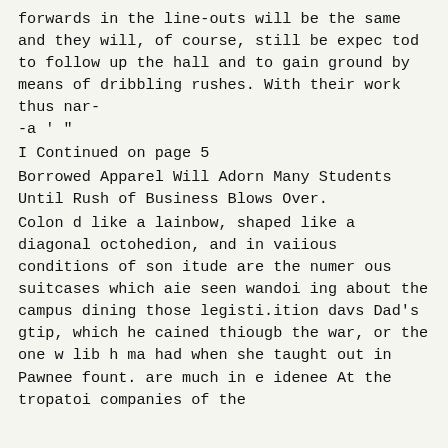forwards in the line-outs will be the same and they will, of course, still be expec tod to follow up the hall and to gain ground by means of dribbling rushes. With their work thus nar- -a ' "
I Continued on page 5
Borrowed Apparel Will Adorn Many Students Until Rush of Business Blows Over.
Colon d like a lainbow, shaped like a diagonal octohedion, and in vaiious conditions of son itude are the numer ous suitcases which aie seen wandoi ing about the campus dining those legisti.ition davs Dad's gtip, which he cained thiougb the war, or the one w lib h ma had when she taught out in Pawnee fount. are much in e idenee At the tropatoi companies of the